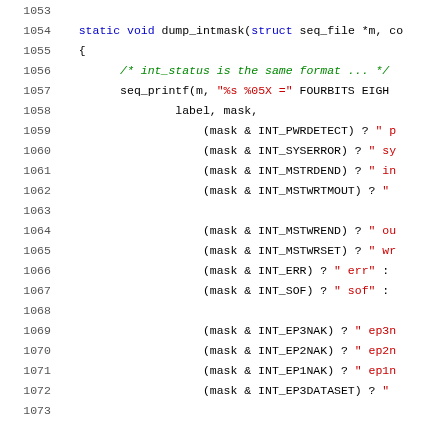[Figure (screenshot): Source code listing showing C function dump_intmask with line numbers 1053-1073, displaying bit mask checks for various interrupt flags using seq_printf.]